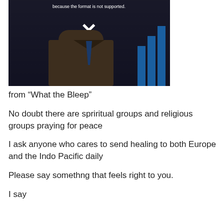[Figure (photo): A dark image showing a person in a suit with a white X placeholder icon indicating unsupported format, with text 'because the format is not supported.' at top. Blue bars visible on right side.]
from “What the Bleep”
No doubt there are spriritual groups and religious groups praying for peace
I ask anyone who cares to send healing to both Europe and the Indo Pacific daily
Please say somethng that feels right to you.
I say